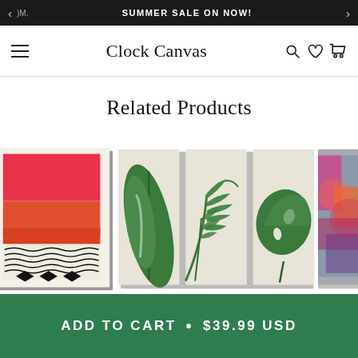SUMMER SALE ON NOW!
Clock Canvas
Related Products
[Figure (photo): E-commerce product listing page for Clock Canvas showing three canvas art products: abstract red/orange geometric art, tropical green leaves triptych canvas set, and a partially visible colorful art piece on the right.]
ADD TO CART • $39.99 USD